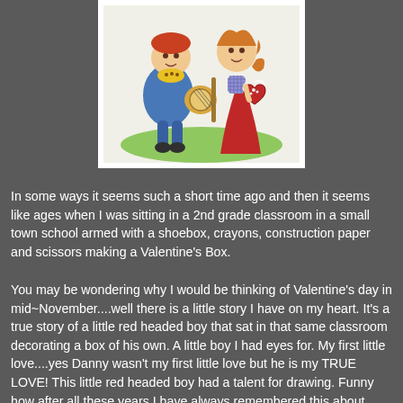[Figure (illustration): Vintage Valentine's Day illustration showing two cartoon children - a boy playing a banjo/guitar wearing blue overalls and a yellow polka-dot scarf, and a girl in a red dress holding a heart-shaped decoration, sitting together on a white background]
In some ways it seems such a short time ago and then it seems like ages when I was sitting in a 2nd grade classroom in a small town school armed with a shoebox, crayons, construction paper and scissors making a Valentine's Box.
You may be wondering why I would be thinking of Valentine's day in mid~November....well there is a little story I have on my heart. It's a true story of a little red headed boy that sat in that same classroom decorating a box of his own. A little boy I had eyes for. My first little love....yes Danny wasn't my first little love but he is my TRUE LOVE! This little red headed boy had a talent for drawing. Funny how after all these years I have always remembered this about him. Robert was his